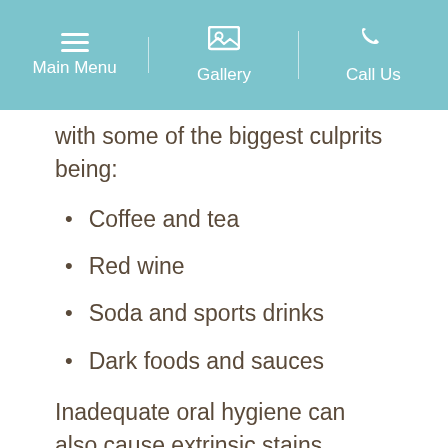Main Menu | Gallery | Call Us
with some of the biggest culprits being:
Coffee and tea
Red wine
Soda and sports drinks
Dark foods and sauces
Inadequate oral hygiene can also cause extrinsic stains.
Intrinsic stains are typically caused by antibiotic and fluoride use during childhood. These may appear as mottled areas of the teeth or ribbons of white underneath the